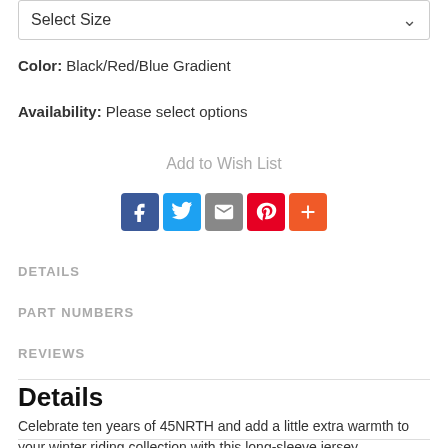Select Size
Color: Black/Red/Blue Gradient
Availability: Please select options
Add to Wish List
[Figure (infographic): Social share icons: Facebook, Twitter, Email, Pinterest, Plus]
DETAILS
PART NUMBERS
REVIEWS
Details
Celebrate ten years of 45NRTH and add a little extra warmth to your winter riding collection with this long-sleeve jersey.